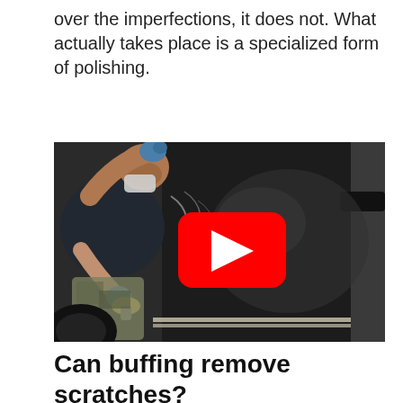over the imperfections, it does not. What actually takes place is a specialized form of polishing.
[Figure (screenshot): YouTube video thumbnail showing a man in blue gloves buffing/polishing the side of a black car. A red YouTube play button is overlaid in the center of the image.]
Can buffing remove scratches?
Buffing an area with polishing or rubbing compounds removes scratches and